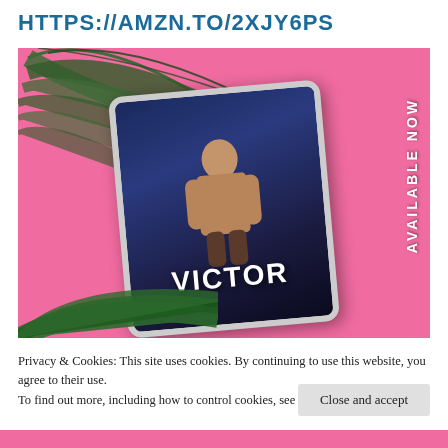HTTPS://AMZN.TO/2XJY6PS
[Figure (photo): Book promotion image showing a tablet device displaying the book cover 'VICTOR' against a pink background with tropical palm leaves. Text 'AVAILABLE NOW' appears vertically on the right side.]
Privacy & Cookies: This site uses cookies. By continuing to use this website, you agree to their use.
To find out more, including how to control cookies, see here: Cookie Policy
Close and accept